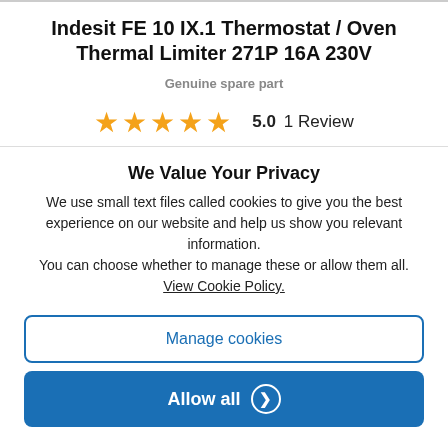Indesit FE 10 IX.1 Thermostat / Oven Thermal Limiter 271P 16A 230V
Genuine spare part
[Figure (other): Five orange stars rating with 5.0 score and 1 Review text]
We Value Your Privacy
We use small text files called cookies to give you the best experience on our website and help us show you relevant information.
You can choose whether to manage these or allow them all.
View Cookie Policy.
Manage cookies
Allow all